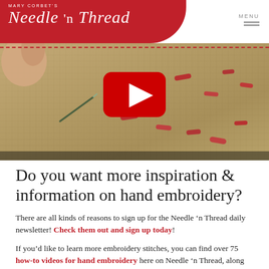MARY CORBET'S Needle 'n Thread | MENU
[Figure (photo): Close-up photo of hand embroidery stitches on linen fabric with a YouTube play button overlay, showing red/coral stitches on natural-colored fabric with a hand holding a needle visible]
Do you want more inspiration & information on hand embroidery?
There are all kinds of reasons to sign up for the Needle 'n Thread daily newsletter! Check them out and sign up today!
If you'd like to learn more embroidery stitches, you can find over 75 how-to videos for hand embroidery here on Needle 'n Thread, along with many other embroidery stitch instructions in this A-Z stitch dictionary, and, for fun, complex, and interesting